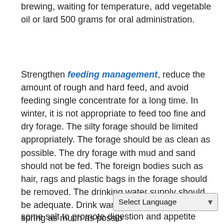brewing, waiting for temperature, add vegetable oil or lard 500 grams for oral administration.
Strengthen feeding management, reduce the amount of rough and hard feed, and avoid feeding single concentrate for a long time. In winter, it is not appropriate to feed too fine and dry forage. The silty forage should be limited appropriately. The forage should be as clean as possible. The dry forage with mud and sand should not be fed. The foreign bodies such as hair, rags and plastic bags in the forage should be removed. The drinking water supply should be adequate. Drink warm water in winter and spring as much as possible, and add some salt to promote digestion and appetite